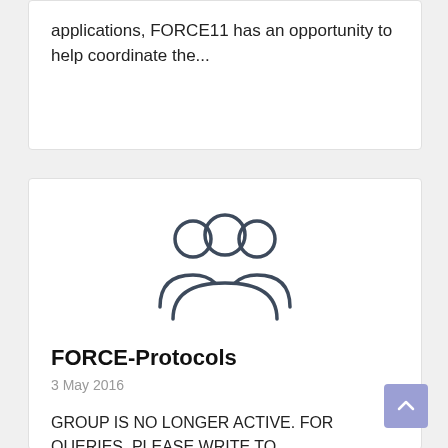applications, FORCE11 has an opportunity to help coordinate the...
[Figure (illustration): Group of three people silhouette icon, outline style in dark grey]
FORCE-Protocols
3 May 2016
GROUP IS NO LONGER ACTIVE. FOR QUERIES, PLEASE WRITE TO 'INFO@FORCE11.ORG'  Description The purpose of this working group is to...